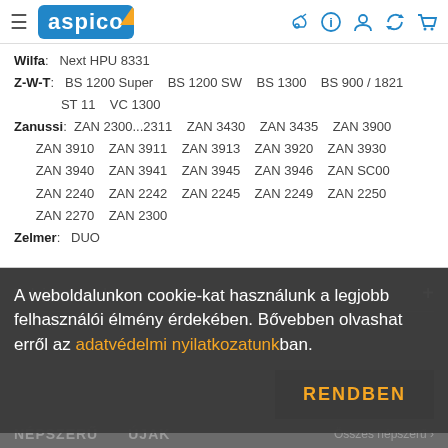aspico — navigation bar with hamburger, logo, and icons
Wilfa: Next HPU 8331
Z-W-T: BS 1200 Super  BS 1200 SW  BS 1300  BS 900 / 1821  ST 11  VC 1300
Zanussi: ZAN 2300...2311  ZAN 3430  ZAN 3435  ZAN 3900  ZAN 3910  ZAN 3911  ZAN 3913  ZAN 3920  ZAN 3930  ZAN 3940  ZAN 3941  ZAN 3945  ZAN 3946  ZAN SC00  ZAN 2240  ZAN 2242  ZAN 2245  ZAN 2249  ZAN 2250  ZAN 2270  ZAN 2300
Zelmer: DUO
A weboldalunkon cookie-kat használunk a legjobb felhasználói élmény érdekében. Bővebben olvashat erről az adatvédelmi nyilatkozatunkban.
RENDBEN
NÉPSZERŰ  ÚJAK  Összes népszerű >